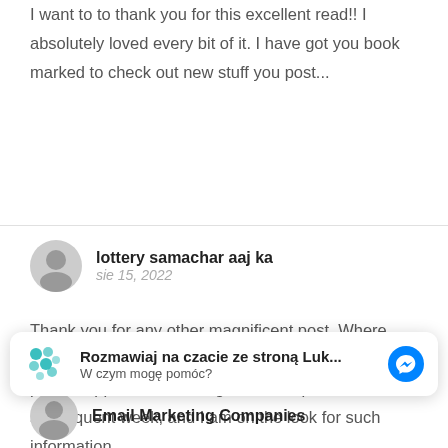I want to to thank you for this excellent read!! I absolutely loved every bit of it. I have got you book marked to check out new stuff you post...
lottery samachar aaj ka
sie 15, 2022
Thank you for any other magnificent post. Where else may anyone get that type of info in such a perfect approach of writing? I have a presentation subsequent week, and I am on the look for such information.
Rozmawiaj na czacie ze stroną Luk...
W czym mogę pomóc?
Email Marketing Companies